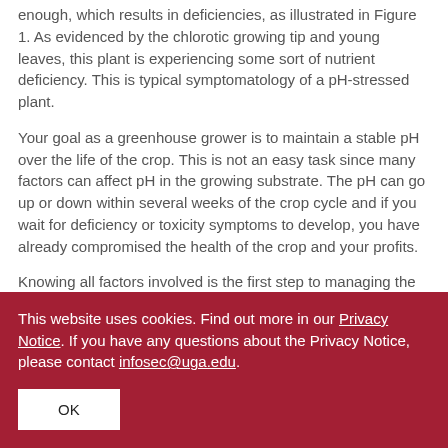enough, which results in deficiencies, as illustrated in Figure 1. As evidenced by the chlorotic growing tip and young leaves, this plant is experiencing some sort of nutrient deficiency. This is typical symptomatology of a pH-stressed plant.
Your goal as a greenhouse grower is to maintain a stable pH over the life of the crop. This is not an easy task since many factors can affect pH in the growing substrate. The pH can go up or down within several weeks of the crop cycle and if you wait for deficiency or toxicity symptoms to develop, you have already compromised the health of the crop and your profits.
Knowing all factors involved is the first step to managing the substrate pH.
This website uses cookies. Find out more in our Privacy Notice. If you have any questions about the Privacy Notice, please contact infosec@uga.edu.